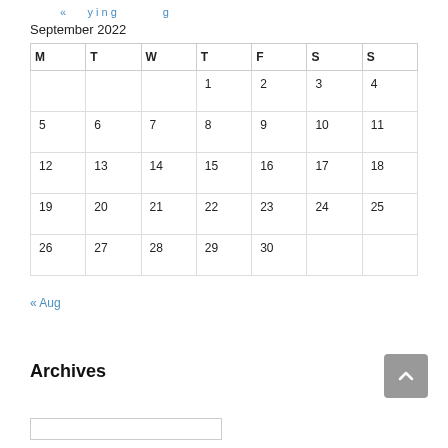« ...ying...og
| M | T | W | T | F | S | S |
| --- | --- | --- | --- | --- | --- | --- |
|  |  |  | 1 | 2 | 3 | 4 |
| 5 | 6 | 7 | 8 | 9 | 10 | 11 |
| 12 | 13 | 14 | 15 | 16 | 17 | 18 |
| 19 | 20 | 21 | 22 | 23 | 24 | 25 |
| 26 | 27 | 28 | 29 | 30 |  |  |
« Aug
Archives